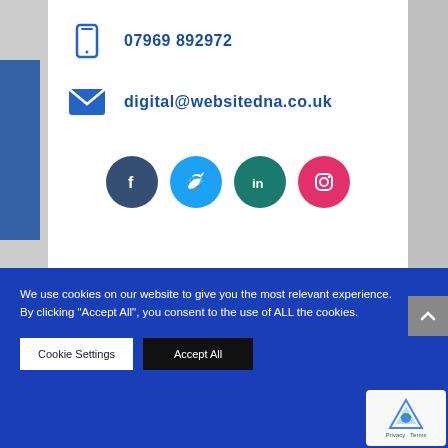07969 892972
digital@websitedna.co.uk
[Figure (other): Social media icons: Facebook (dark blue circle), Twitter (cyan circle), LinkedIn (teal circle), Instagram (red circle)]
We use cookies on our website to give you the most relevant experience. By clicking "Accept All", you consent to the use of ALL the cookies.
Cookie Settings
Accept All